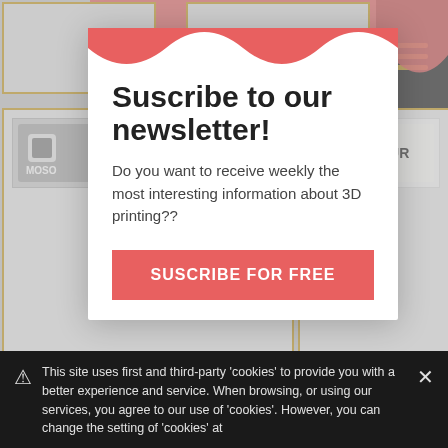www.maquinser.com/
[Figure (screenshot): Website card for Moso3D showing logo and URL moso3d.com/]
[Figure (screenshot): Website card for Pantur showing logo and URL pantur.es/]
[Figure (screenshot): Website card for Renishaw showing logo and URL www.renishaw.es/es]
Suscribe to our newsletter!
Do you want to receive weekly the most interesting information about 3D printing??
SUSCRIBE FOR FREE
This site uses first and third-party 'cookies' to provide you with a better experience and service. When browsing, or using our services, you agree to our use of 'cookies'. However, you can change the setting of 'cookies' at